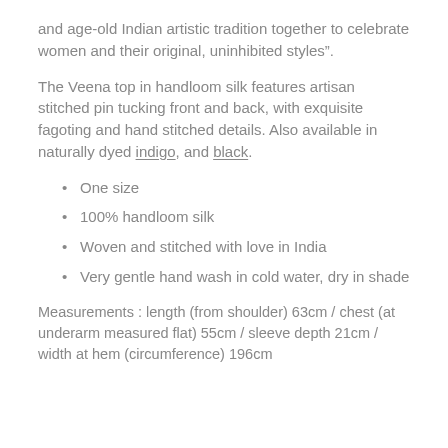and age-old Indian artistic tradition together to celebrate women and their original, uninhibited styles".
The Veena top in handloom silk features artisan stitched pin tucking front and back, with exquisite fagoting and hand stitched details. Also available in naturally dyed indigo, and black.
One size
100% handloom silk
Woven and stitched with love in India
Very gentle hand wash in cold water, dry in shade
Measurements : length (from shoulder) 63cm / chest (at underarm measured flat) 55cm / sleeve depth 21cm / width at hem (circumference) 196cm